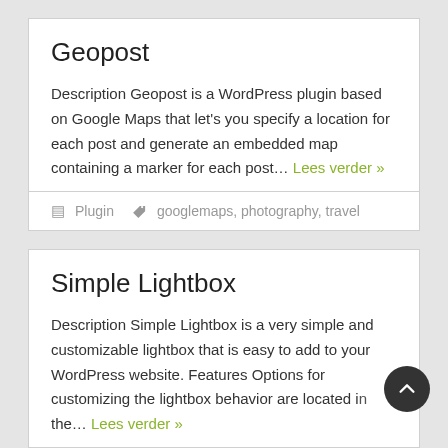Geopost
Description Geopost is a WordPress plugin based on Google Maps that let's you specify a location for each post and generate an embedded map containing a marker for each post… Lees verder »
Plugin   googlemaps, photography, travel
Simple Lightbox
Description Simple Lightbox is a very simple and customizable lightbox that is easy to add to your WordPress website. Features Options for customizing the lightbox behavior are located in the… Lees verder »